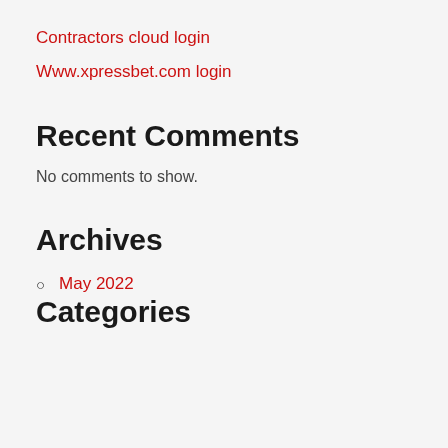Contractors cloud login
Www.xpressbet.com login
Recent Comments
No comments to show.
Archives
May 2022
Categories